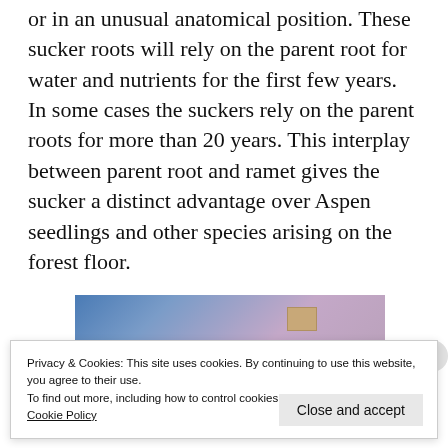or in an unusual anatomical position. These sucker roots will rely on the parent root for water and nutrients for the first few years. In some cases the suckers rely on the parent roots for more than 20 years. This interplay between parent root and ramet gives the sucker a distinct advantage over Aspen seedlings and other species arising on the forest floor.
[Figure (photo): Partial view of a photograph showing a blue-purple gradient background with a small brown/tan rectangular element visible]
Privacy & Cookies: This site uses cookies. By continuing to use this website, you agree to their use.
To find out more, including how to control cookies, see here:
Cookie Policy
Close and accept